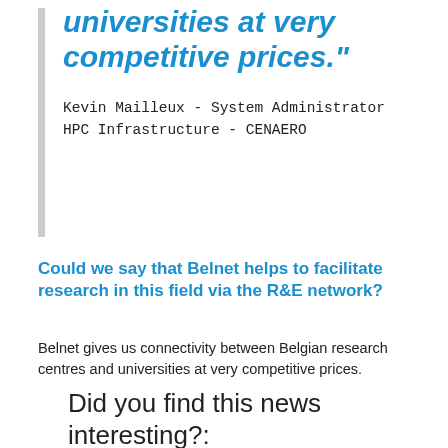universities at very competitive prices."
Kevin Mailleux - System Administrator
HPC Infrastructure - CENAERO
Could we say that Belnet helps to facilitate research in this field via the R&E network?
Belnet gives us connectivity between Belgian research centres and universities at very competitive prices.
Did you find this news interesting?: